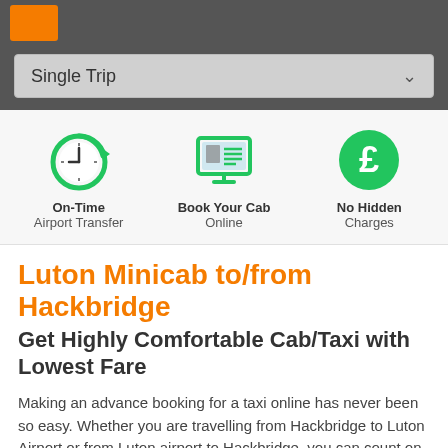[Figure (screenshot): Single Trip dropdown selector with dark grey background]
[Figure (infographic): Three icons: On-Time Airport Transfer (clock with refresh arrow), Book Your Cab Online (computer monitor with document), No Hidden Charges (pound sign in green circle)]
Luton Minicab to/from Hackbridge
Get Highly Comfortable Cab/Taxi with Lowest Fare
Making an advance booking for a taxi online has never been so easy. Whether you are travelling from Hackbridge to Luton Airport or from Luton airport to Hackbridge, you can count on us to arrange your safe and timely transfer to